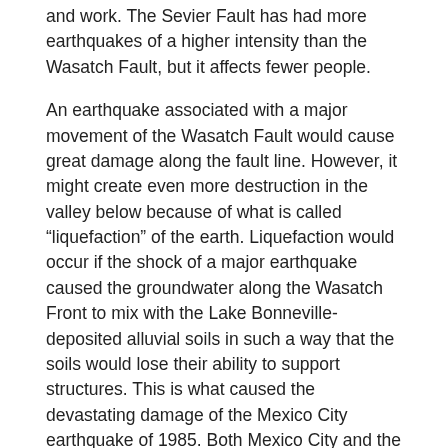and work. The Sevier Fault has had more earthquakes of a higher intensity than the Wasatch Fault, but it affects fewer people.
An earthquake associated with a major movement of the Wasatch Fault would cause great damage along the fault line. However, it might create even more destruction in the valley below because of what is called "liquefaction" of the earth. Liquefaction would occur if the shock of a major earthquake caused the groundwater along the Wasatch Front to mix with the Lake Bonneville-deposited alluvial soils in such a way that the soils would lose their ability to support structures. This is what caused the devastating damage of the Mexico City earthquake of 1985. Both Mexico City and the valleys of the Wasatch Front are located on old lake beds.
Landslides and mudslides received much attention during the above-average precipitation period of the